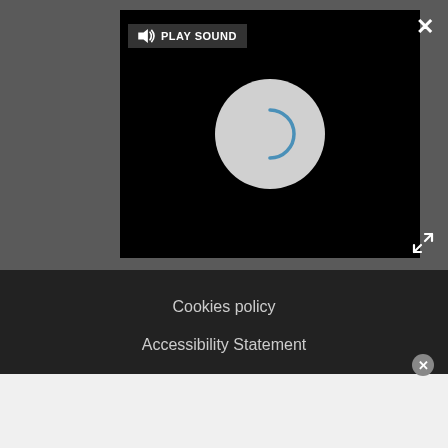[Figure (screenshot): Video player with black background, a circular loading spinner in the center, a PLAY SOUND button in the top-left, a close (X) button in the top-right, and an expand icon below the close button. The player sits on a dark gray bar.]
Cookies policy
Accessibility Statement
Careers
Do not sell my info
© Future Publishing Limited Quay House, The Ambury, Bath